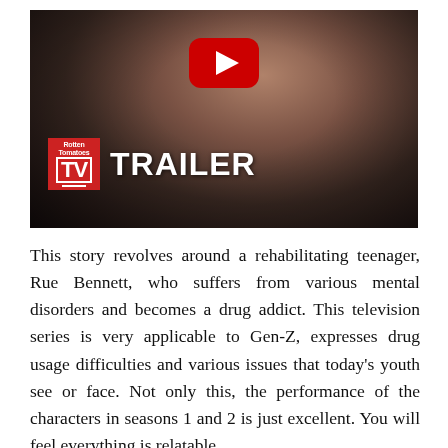[Figure (screenshot): A YouTube-style video thumbnail showing a teenage girl with curly dark hair against a blurred background. Features the YouTube play button icon, a Rotten Tomatoes TV logo badge in the lower left, and large white bold text reading 'TRAILER'.]
This story revolves around a rehabilitating teenager, Rue Bennett, who suffers from various mental disorders and becomes a drug addict. This television series is very applicable to Gen-Z, expresses drug usage difficulties and various issues that today's youth see or face. Not only this, the performance of the characters in seasons 1 and 2 is just excellent. You will feel everything is relatable.